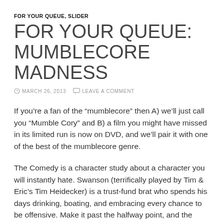FOR YOUR QUEUE, SLIDER
FOR YOUR QUEUE: MUMBLECORE MADNESS
MARCH 26, 2013   LEAVE A COMMENT
If you’re a fan of the “mumblecore” then A) we’ll just call you “Mumble Cory” and B) a film you might have missed in its limited run is now on DVD, and we’ll pair it with one of the best of the mumblecore genre.
The Comedy is a character study about a character you will instantly hate. Swanson (terrifically played by Tim & Eric’s Tim Heidecker) is a trust-fund brat who spends his days drinking, boating, and embracing every chance to be offensive. Make it past the halfway point, and the ironically-titled film becomes strangely hypnotic.